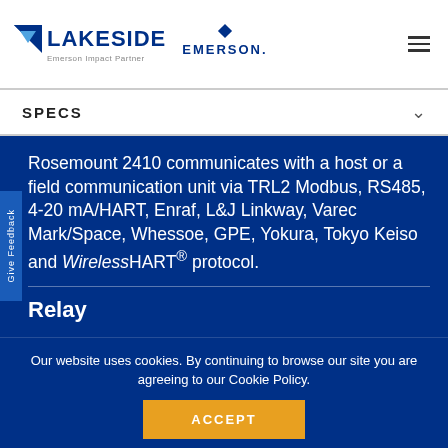LAKESIDE | Emerson Impact Partner | EMERSON.
SPECS
Rosemount 2410 communicates with a host or a field communication unit via TRL2 Modbus, RS485, 4-20 mA/HART, Enraf, L&J Linkway, Varec Mark/Space, Whessoe, GPE, Yokura, Tokyo Keiso and WirelessHART® protocol.
Relay
Our website uses cookies. By continuing to browse our site you are agreeing to our Cookie Policy.